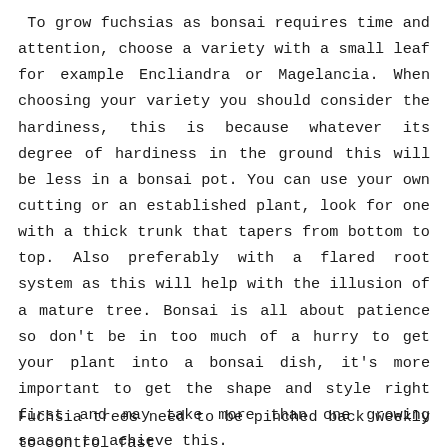To grow fuchsias as bonsai requires time and attention, choose a variety with a small leaf for example Encliandra or Magelancia. When choosing your variety you should consider the hardiness, this is because whatever its degree of hardiness in the ground this will be less in a bonsai pot. You can use your own cutting or an established plant, look for one with a thick trunk that tapers from bottom to top. Also preferably with a flared root system as this will help with the illusion of a mature tree. Bonsai is all about patience so don't be in too much of a hurry to get your plant into a bonsai dish, it's more important to get the shape and style right first and may take more than one growing season to achieve this.
Fuchsia trees need to be pinched back weekly to control fast